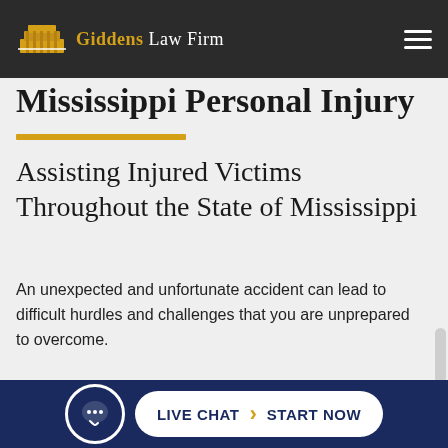Giddens Law Firm
Mississippi Personal Injury
Assisting Injured Victims Throughout the State of Mississippi
An unexpected and unfortunate accident can lead to difficult hurdles and challenges that you are unprepared to overcome.
Following an accident, you may find yourself overwhelmed with medical expenses.